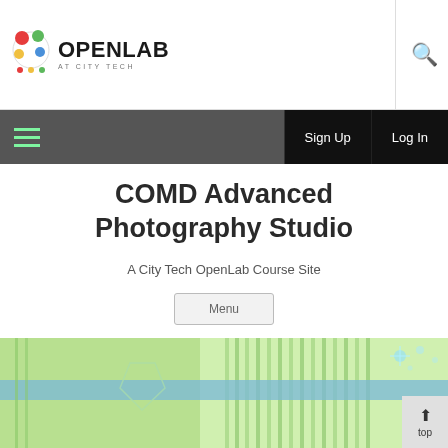OPENLAB AT CITY TECH
COMD Advanced Photography Studio
A City Tech OpenLab Course Site
Menu
[Figure (photo): Green-tinted laboratory or photography studio equipment image with blue horizontal stripe across middle]